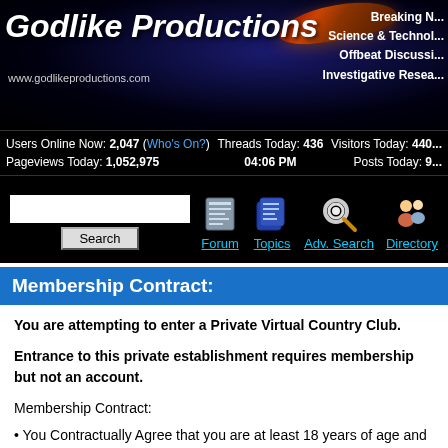[Figure (screenshot): Godlike Productions website header banner with logo, UFO image, space background, and navigation links]
Users Online Now: 2,047 (Who's On?) Pageviews Today: 1,052,975 Threads Today: 436 04:06 PM Visitors Today: 440 Posts Today: 9
[Figure (screenshot): Search bar with Search button and navigation icons for Forum, Topics, Adv. Search, Directory]
Membership Contract:
You are attempting to enter a Private Virtual Country Club.
Entrance to this private establishment requires membership but not an account.
Membership Contract:
You Contractually Agree that you are at least 18 years of age and that you are accessing this website for personal use only.
You Contractually Agree that you wish to join as a member to this private establishment and that any communication taking place here is considered private communication between members which you agree not to publicly disclose or disseminate.
You are responsible for all activity that occurs under your IP Address while on this site including your conduct and...